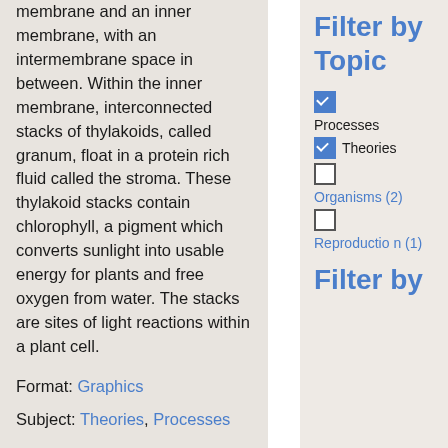membrane and an inner membrane, with an intermembrane space in between. Within the inner membrane, interconnected stacks of thylakoids, called granum, float in a protein rich fluid called the stroma. These thylakoid stacks contain chlorophyll, a pigment which converts sunlight into usable energy for plants and free oxygen from water. The stacks are sites of light reactions within a plant cell.
Format: Graphics
Subject: Theories, Processes
Filter by Topic
☑ Processes (checked)
☑ Theories (checked)
☐ Organisms (2)
☐ Reproduction (1)
Filter by